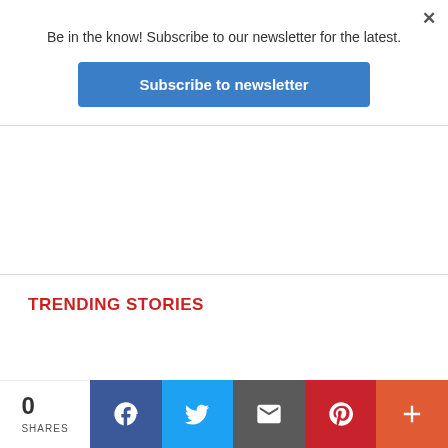Be in the know! Subscribe to our newsletter for the latest.
Subscribe to newsletter
TRENDING STORIES
0 SHARES
[Figure (infographic): Social share bar with Facebook, Twitter, Email, Pinterest, and More buttons]